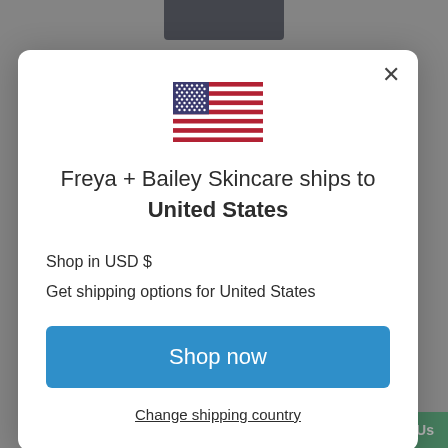[Figure (screenshot): Background of a skincare website partially visible behind a modal dialog, showing a dark navigation bar at top and large text 'Real, Proven Results' at the bottom, with a green 'Contact Us' button in the bottom-right corner.]
[Figure (illustration): United States flag emoji/icon centered in the modal dialog.]
Freya + Bailey Skincare ships to United States
Shop in USD $
Get shipping options for United States
Shop now
Change shipping country